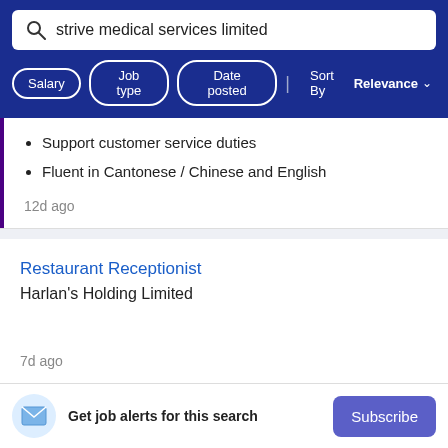strive medical services limited
Salary | Job type | Date posted | Sort By Relevance
Support customer service duties
Fluent in Cantonese / Chinese and English
12d ago
Restaurant Receptionist
Harlan's Holding Limited
7d ago
Get job alerts for this search